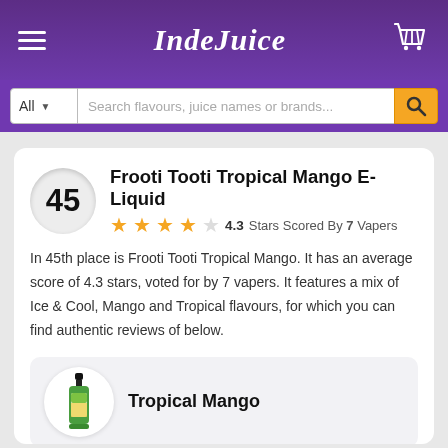IndeJuice
All  Search flavours, juice names or brands...
Frooti Tooti Tropical Mango E-Liquid
4.3 Stars Scored By 7 Vapers
In 45th place is Frooti Tooti Tropical Mango. It has an average score of 4.3 stars, voted for by 7 vapers. It features a mix of Ice & Cool, Mango and Tropical flavours, for which you can find authentic reviews of below.
Tropical Mango
"Just lush.... Really fruity, very mango with a lovely subtle pineapple taste after. Fresh cool hit. A definite